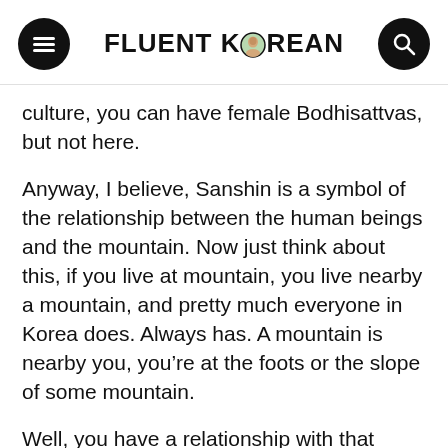FLUENT KOREAN
culture, you can have female Bodhisattvas, but not here.
Anyway, I believe, Sanshin is a symbol of the relationship between the human beings and the mountain. Now just think about this, if you live at mountain, you live nearby a mountain, and pretty much everyone in Korea does. Always has. A mountain is nearby you, you’re at the foots or the slope of some mountain.
Well, you have a relationship with that mountain. If affects you and I mean all the trees, and the products from the mountain, and the animals that live on the moutain, and